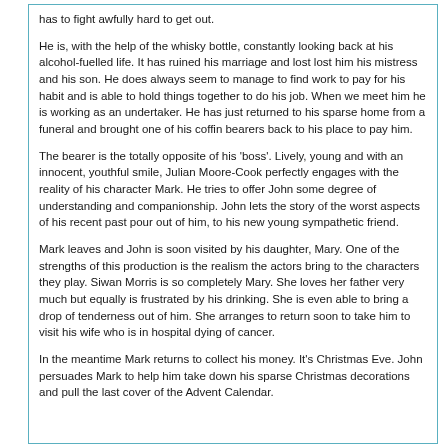has to fight awfully hard to get out.
He is, with the help of the whisky bottle, constantly looking back at his alcohol-fuelled life. It has ruined his marriage and lost lost him his mistress and his son. He does always seem to manage to find work to pay for his habit and is able to hold things together to do his job. When we meet him he is working as an undertaker. He has just returned to his sparse home from a funeral and brought one of his coffin bearers back to his place to pay him.
The bearer is the totally opposite of his ‘boss’. Lively, young and with an innocent, youthful smile, Julian Moore-Cook perfectly engages with the reality of his character Mark. He tries to offer John some degree of understanding and companionship. John lets the story of the worst aspects of his recent past pour out of him, to his new young sympathetic friend.
Mark leaves and John is soon visited by his daughter, Mary. One of the strengths of this production is the realism the actors bring to the characters they play. Siwan Morris is so completely Mary. She loves her father very much but equally is frustrated by his drinking. She is even able to bring a drop of tenderness out of him. She arranges to return soon to take him to visit his wife who is in hospital dying of cancer.
In the meantime Mark returns to collect his money. It’s Christmas Eve. John persuades Mark to help him take down his sparse Christmas decorations and pull the last cover of the Advent Calendar.